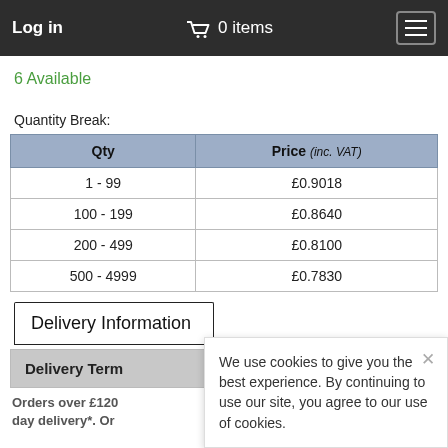Log in   0 items
6 Available
Quantity Break:
| Qty | Price (inc. VAT) |
| --- | --- |
| 1 - 99 | £0.9018 |
| 100 - 199 | £0.8640 |
| 200 - 499 | £0.8100 |
| 500 - 4999 | £0.7830 |
Delivery Information
Delivery Terms
Orders over £120 ... day delivery*. Or...
We use cookies to give you the best experience. By continuing to use our site, you agree to our use of cookies.